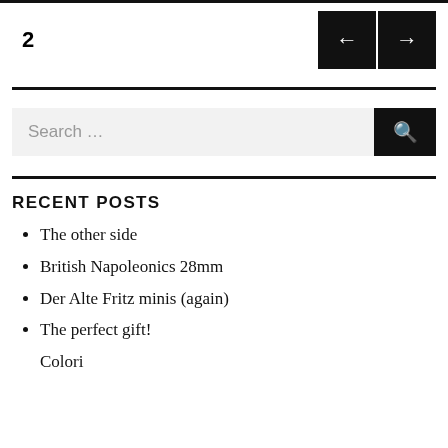2
RECENT POSTS
The other side
British Napoleonics 28mm
Der Alte Fritz minis (again)
The perfect gift!
(partial, cut off)